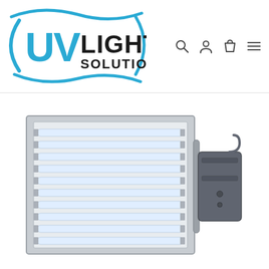[Figure (logo): UV Light Solutions company logo with blue wave/swoosh design and UV in large blue bold letters, LIGHT in black bold, SOLUTIONS in black below]
[Figure (other): Navigation icons: search (magnifying glass), user/account (person silhouette), cart (shopping bag), and hamburger menu (three horizontal lines)]
[Figure (photo): Product photo of a UV light panel/lamp array - a rectangular grid of UV fluorescent tubes in a metal frame with an attached gray control/ballast box on the right side]